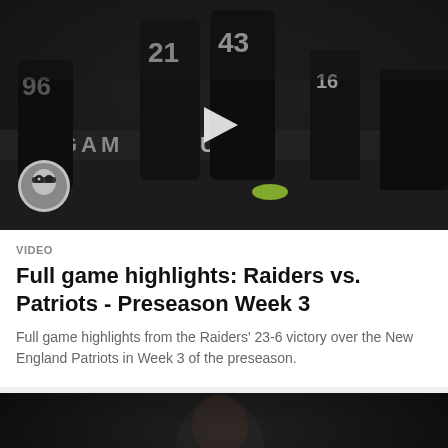[Figure (photo): Raiders football players on field during preseason game, player numbers 21 and 43 visible, Raiders logo bottom left, play button overlay in center]
VIDEO
Full game highlights: Raiders vs. Patriots - Preseason Week 3
Full game highlights from the Raiders' 23-6 victory over the New England Patriots in Week 3 of the preseason.
[Figure (photo): Interview or press conference setting, man visible, lower third text reading 'AIAH ZUBER']